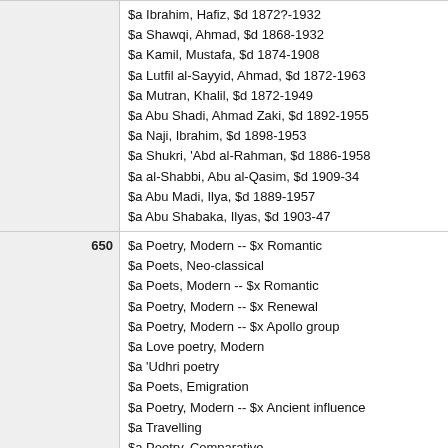$a Ibrahim, Hafiz, $d 1872?-1932
$a Shawqi, Ahmad, $d 1868-1932
$a Kamil, Mustafa, $d 1874-1908
$a Lutfil al-Sayyid, Ahmad, $d 1872-1963
$a Mutran, Khalil, $d 1872-1949
$a Abu Shadi, Ahmad Zaki, $d 1892-1955
$a Naji, Ibrahim, $d 1898-1953
$a Shukri, 'Abd al-Rahman, $d 1886-1958
$a al-Shabbi, Abu al-Qasim, $d 1909-34
$a Abu Madi, Ilya, $d 1889-1957
$a Abu Shabaka, Ilyas, $d 1903-47
$a Poetry, Modern -- $x Romantic
$a Poets, Neo-classical
$a Poets, Modern -- $x Romantic
$a Poetry, Modern -- $x Renewal
$a Poetry, Modern -- $x Apollo group
$a Love poetry, Modern
$a 'Udhri poetry
$a Poets, Emigration
$a Poetry, Modern -- $x Ancient influence
$a Travelling
$a Poetry, Comparative
$a Nasib
$a Panegyric
$a Poetry, Ancient -- $x Short poem